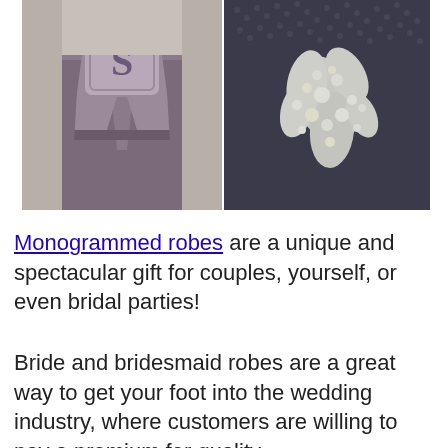[Figure (photo): Two-panel photo: left panel shows a purple/mauve monogrammed robe with a letter 'S' in a decorative badge on the back; right panel shows a close-up of a dark textured fabric with a white embroidered floral or decorative monogram design.]
Monogrammed robes are a unique and spectacular gift for couples, yourself, or even bridal parties!
Bride and bridesmaid robes are a great way to get your foot into the wedding industry, where customers are willing to pay a premium for quality.